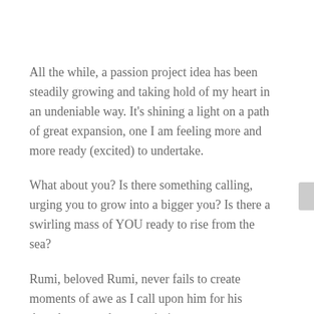All the while, a passion project idea has been steadily growing and taking hold of my heart in an undeniable way. It's shining a light on a path of great expansion, one I am feeling more and more ready (excited) to undertake.
What about you? Is there something calling, urging you to grow into a bigger you? Is there a swirling mass of YOU ready to rise from the sea?
Rumi, beloved Rumi, never fails to create moments of awe as I call upon him for his thoughts on each new painting.